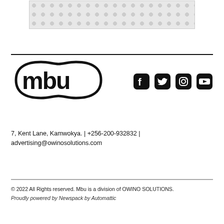[Figure (other): Decorative pattern box with circular motifs in light grey]
[Figure (logo): MBU logo in bold black stylized lettering with rounded shapes]
[Figure (infographic): Social media icons: Facebook, Twitter, Instagram, YouTube]
7, Kent Lane, Kamwokya. | +256-200-932832 | advertising@owinosolutions.com
© 2022 All Rights reserved. Mbu is a division of OWINO SOLUTIONS.
Proudly powered by Newspack by Automattic